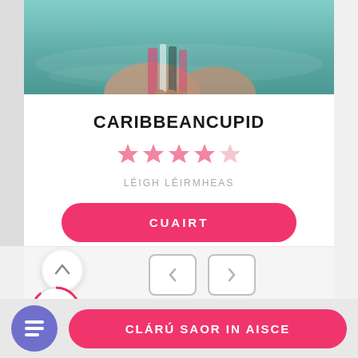[Figure (photo): Person in water with colorful swimsuit top, hands visible near water surface, teal/turquoise water background]
CARIBBEANCUPID
[Figure (other): 4 out of 5 pink stars rating]
LÉIGH LÉIRMHEAS
CUAIRT
[Figure (other): Up arrow in white circle navigation button]
[Figure (other): 89% score in red circle indicator]
[Figure (other): Left and right navigation arrow buttons]
[Figure (other): Purple circle menu icon button]
CLÁRÚ SAOR IN AISCE